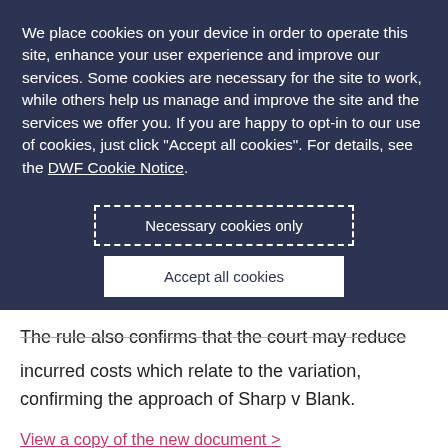We place cookies on your device in order to operate this site, enhance your user experience and improve our services. Some cookies are necessary for the site to work, while others help us manage and improve the site and the services we offer you. If you are happy to opt-in to our use of cookies, just click "Accept all cookies". For details, see the DWF Cookie Notice.
Necessary cookies only
Accept all cookies
+ Review our use of cookies and set your preferences
The rule also confirms that the court may reduce incurred costs which relate to the variation, confirming the approach of Sharp v Blank.
View a copy of the new document >